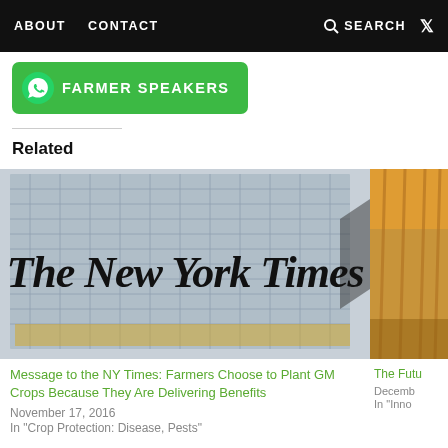ABOUT   CONTACT   SEARCH   Twitter
[Figure (other): Green button with WhatsApp icon and text FARMER SPEAKERS]
[Figure (photo): Photo of The New York Times building exterior with large blackletter logo on glass facade]
Related
Message to the NY Times: Farmers Choose to Plant GM Crops Because They Are Delivering Benefits
November 17, 2016
In "Crop Protection: Disease, Pests"
[Figure (photo): Partial photo of wheat or grain crops, warm golden tones, partially visible on right edge]
The Futu
Decemb
In "Inno